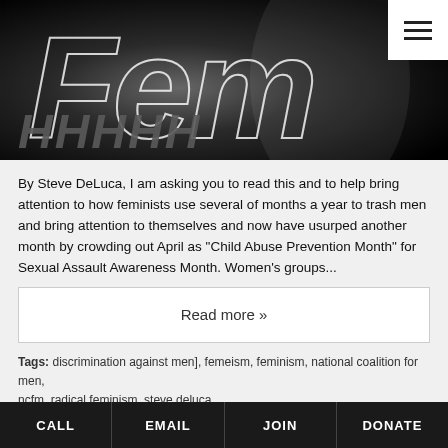[Figure (photo): Dark background hero image with large white-outlined italic text reading 'Fem' partially visible, and diagonal striped text below on a dark/black background with spotlight effect]
By Steve DeLuca, I am asking you to read this and to help bring attention to how feminists use several of months a year to trash men and bring attention to themselves and now have usurped another month by crowding out April as "Child Abuse Prevention Month" for Sexual Assault Awareness Month. Women's groups...
Read more »
Tags: discrimination against men], femeism, feminism, national coalition for men, ncfm, radical feminism, steve deluca
CALL  EMAIL  JOIN  DONATE